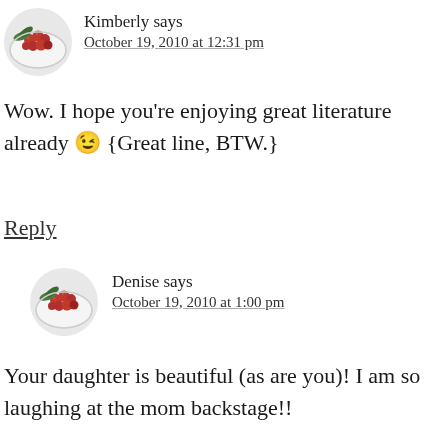[Figure (photo): Circular avatar image showing cranberries on a white plate with green leaves]
Kimberly says
October 19, 2010 at 12:31 pm
Wow. I hope you're enjoying great literature already 😉 {Great line, BTW.}
Reply
[Figure (photo): Circular avatar image showing cranberries on a white plate with green leaves]
Denise says
October 19, 2010 at 1:00 pm
Your daughter is beautiful (as are you)! I am so laughing at the mom backstage!!